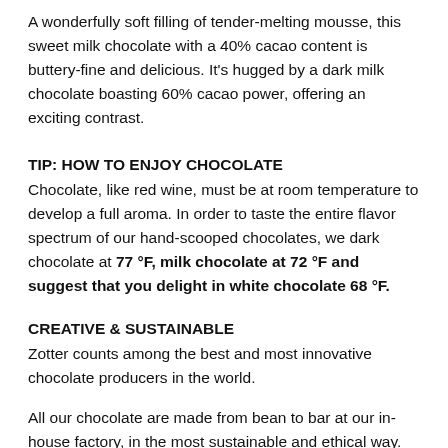A wonderfully soft filling of tender-melting mousse, this sweet milk chocolate with a 40% cacao content is buttery-fine and delicious. It's hugged by a dark milk chocolate boasting 60% cacao power, offering an exciting contrast.
TIP: HOW TO ENJOY CHOCOLATE
Chocolate, like red wine, must be at room temperature to develop a full aroma. In order to taste the entire flavor spectrum of our hand-scooped chocolates, we dark chocolate at 77 °F, milk chocolate at 72 °F and suggest that you delight in white chocolate 68 °F.
CREATIVE & SUSTAINABLE
Zotter counts among the best and most innovative chocolate producers in the world.
All our chocolate are made from bean to bar at our in-house factory, in the most sustainable and ethical way.